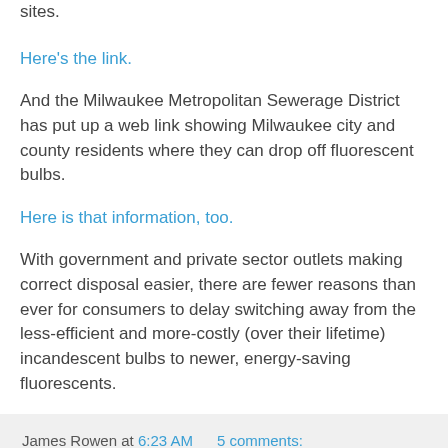sites.
Here's the link.
And the Milwaukee Metropolitan Sewerage District has put up a web link showing Milwaukee city and county residents where they can drop off fluorescent bulbs.
Here is that information, too.
With government and private sector outlets making correct disposal easier, there are fewer reasons than ever for consumers to delay switching away from the less-efficient and more-costly (over their lifetime) incandescent bulbs to newer, energy-saving fluorescents.
James Rowen at 6:23 AM   5 comments:
Share
Roadblocks To Rail Prove We Need A